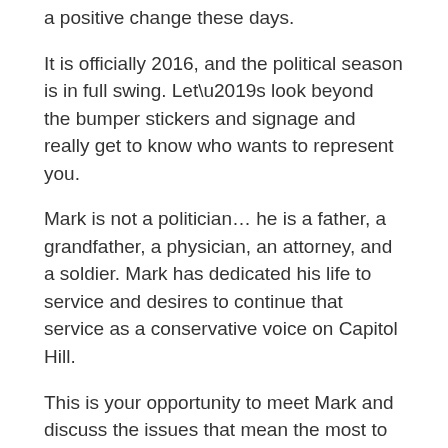a positive change these days.
It is officially 2016, and the political season is in full swing. Let’s look beyond the bumper stickers and signage and really get to know who wants to represent you.
Mark is not a politician… he is a father, a grandfather, a physician, an attorney, and a soldier. Mark has dedicated his life to service and desires to continue that service as a conservative voice on Capitol Hill.
This is your opportunity to meet Mark and discuss the issues that mean the most to you. National Security? The Economy? Healthcare? Let’s talk about it!
Please invite your friends!